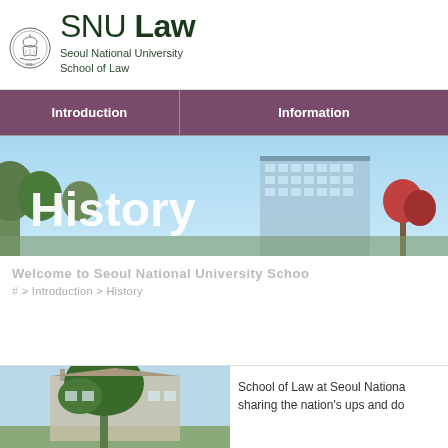[Figure (logo): SNU Law - Seoul National University School of Law logo with emblem]
[Figure (infographic): Navigation bar with Introduction and Information menu items on dark mauve/purple background]
[Figure (photo): Hero banner showing History title over campus building photograph with trees]
Welcome to Seoul National University Schoo
# > Introduction > History
[Figure (photo): Photo of campus building with trees]
School of Law at Seoul Nationa sharing the nation's ups and do